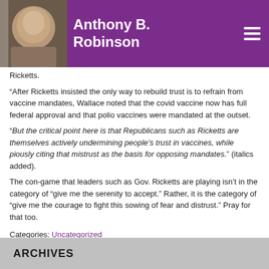Anthony B. Robinson
Ricketts.
“After Ricketts insisted the only way to rebuild trust is to refrain from vaccine mandates, Wallace noted that the covid vaccine now has full federal approval and that polio vaccines were mandated at the outset.
“But the critical point here is that Republicans such as Ricketts are themselves actively undermining people’s trust in vaccines, while piously citing that mistrust as the basis for opposing mandates.” (italics added).
The con-game that leaders such as Gov. Ricketts are playing isn’t in the category of “give me the serenity to accept.” Rather, it is the category of “give me the courage to fight this sowing of fear and distrust.” Pray for that too.
Categories: Uncategorized
ARCHIVES